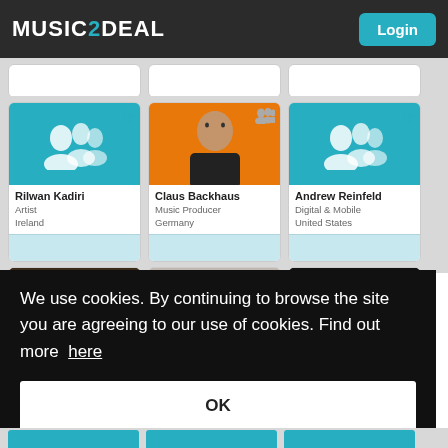MUSIC2DEAL | Login
[Figure (screenshot): Music2Deal website cards grid showing user profiles: Rilwan Kadiri (Artist, Ireland), Claus Backhaus (Music Producer, Germany), Andrew Reinfeld (Digital & Mobile, United States), plus partial rows of other profile cards]
We use cookies. By continuing to browse the site you are agreeing to our use of cookies. Find out more here
OK